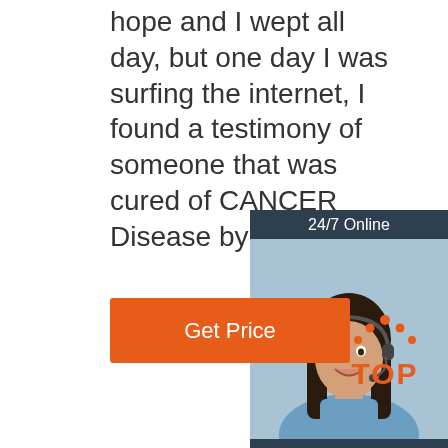hope and I wept all day, but one day I was surfing the internet, I found a testimony of someone that was cured of CANCER Disease by Dr Odudu.
[Figure (infographic): Online chat advertisement widget with dark blue background, showing '24/7 Online' header, photo of smiling woman with headset, 'Click here for free chat!' text, and an orange QUOTATION button]
[Figure (logo): TOP logo with orange dots arranged in a triangle/arc above the word TOP in orange letters]
Get Price